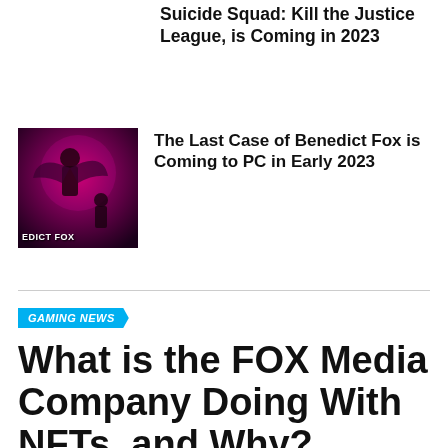Suicide Squad: Kill the Justice League, is Coming in 2023
[Figure (photo): Game cover art for The Last Case of Benedict Fox, showing dark purple/magenta fantasy artwork with a character silhouette and the text EDICT FOX]
The Last Case of Benedict Fox is Coming to PC in Early 2023
GAMING NEWS
What is the FOX Media Company Doing With NFTs, and Why?